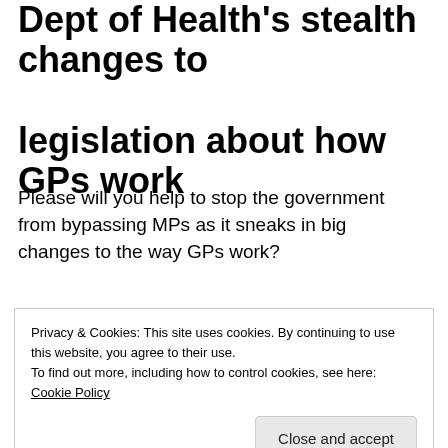Dept of Health's stealth changes to legislation about how GPs work
Please will you help to stop the government from bypassing MPs as it sneaks in big changes to the way GPs work?
[Figure (other): Advertisement banner with podcast logos: a red/green triangular badge logo, 'podcast lovers.' text, and a Pocket Casts logo]
REPORT THIS AD
Privacy & Cookies: This site uses cookies. By continuing to use this website, you agree to their use.
To find out more, including how to control cookies, see here: Cookie Policy
Close and accept
it in any way you like. You can find your MP's contact